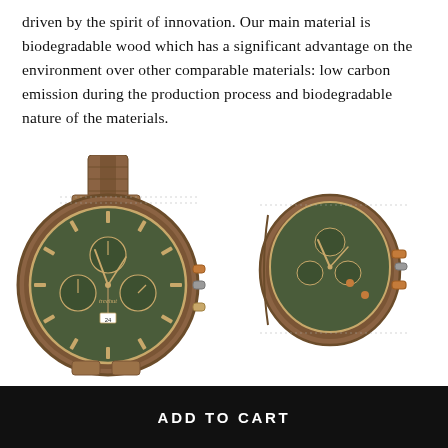driven by the spirit of innovation. Our main material is biodegradable wood which has a significant advantage on the environment over other comparable materials: low carbon emission during the production process and biodegradable nature of the materials.
[Figure (illustration): Two views of a wooden chronograph watch with green dial and orange accents. Left: front face view showing the full watch with band. Right: side/angle view of the watch case showing crown buttons and case profile.]
ADD TO CART